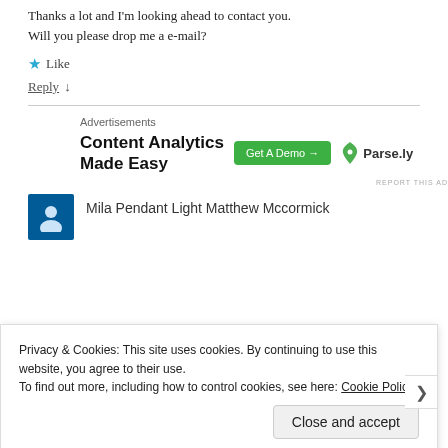Thanks a lot and I'm looking ahead to contact you. Will you please drop me a e-mail?
★ Like
Reply ↓
[Figure (infographic): Advertisement banner for Parse.ly Content Analytics Made Easy with Get A Demo button and Parse.ly logo]
Mila Pendant Light Matthew Mccormick
Privacy & Cookies: This site uses cookies. By continuing to use this website, you agree to their use.
To find out more, including how to control cookies, see here: Cookie Policy
Close and accept